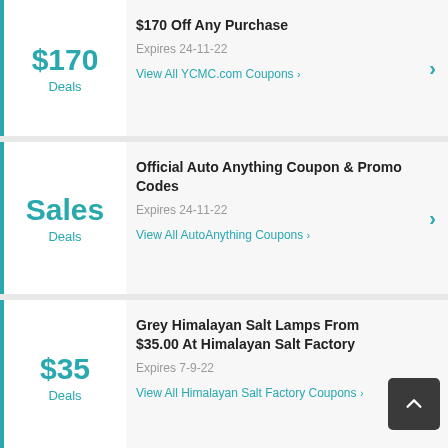$170 Off Any Purchase — Expires 24-11-22 — View All YCMC.com Coupons
Official Auto Anything Coupon & Promo Codes — Expires 24-11-22 — View All AutoAnything Coupons
Grey Himalayan Salt Lamps From $35.00 At Himalayan Salt Factory — Expires 7-9-22 — View All Himalayan Salt Factory Coupons
Free Standard Delivery At Vi...